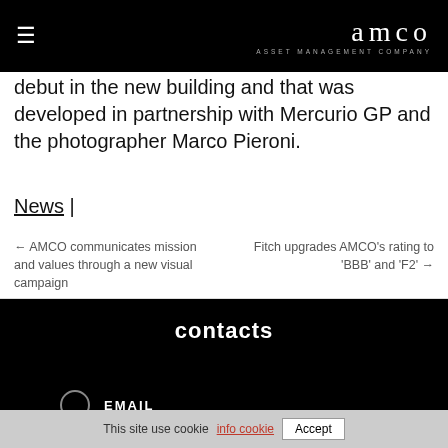amco ASSET MANAGEMENT COMPANY
debut in the new building and that was developed in partnership with Mercurio GP and the photographer Marco Pieroni.
News |
← AMCO communicates mission and values through a new visual campaign
Fitch upgrades AMCO's rating to 'BBB' and 'F2' →
contacts
EMAIL
This site use cookie  info cookie  Accept